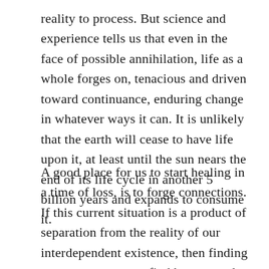reality to process. But science and experience tells us that even in the face of possible annihilation, life as a whole forges on, tenacious and driven toward continuance, enduring change in whatever ways it can. It is unlikely that the earth will cease to have life upon it, at least until the sun nears the end of its life cycle in another 5 billion years and expands to consume it.
A good place for us to start healing in a time of loss, is to forge connections. If this current situation is a product of separation from the reality of our interdependent existence, then finding ways to connect, to find beauty, and to love one another and yourself is an antidote. We don't all travel the same path in the same way. Find a